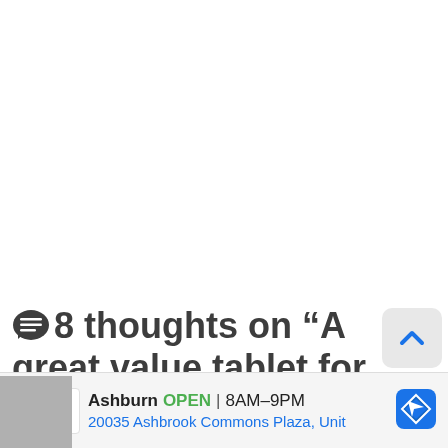💬 8 thoughts on “A great value tablet for Summer – Amazon Fire Tablet”
[Figure (other): Back-to-top chevron button, light gray rounded rectangle with blue upward chevron arrow icon]
[Figure (other): Advertisement banner: Smoothie King logo, Ashburn location OPEN 8AM-9PM, address 20035 Ashbrook Commons Plaza, Unit, with Google Maps navigation icon]